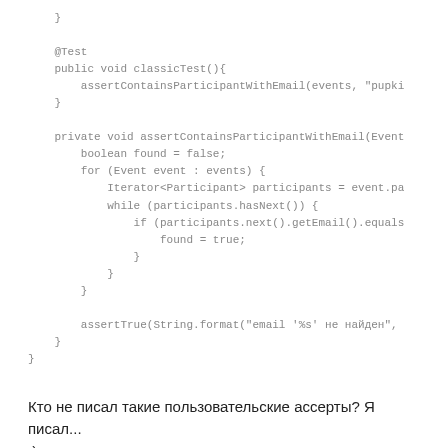}

    @Test
    public void classicTest(){
        assertContainsParticipantWithEmail(events, "pupki
    }

    private void assertContainsParticipantWithEmail(Event
        boolean found = false;
        for (Event event : events) {
            Iterator<Participant> participants = event.pa
            while (participants.hasNext()) {
                if (participants.next().getEmail().equals
                    found = true;
                }
            }
        }

        assertTrue(String.format("email '%s' не найден",
    }
}
Кто не писал такие пользовательские ассерты? Я писал...
:)
С развитием системы (если постоянно покрывать ее